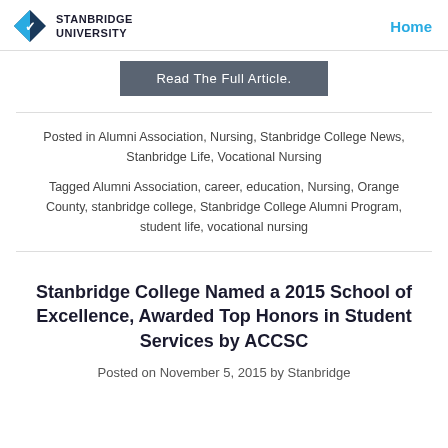STANBRIDGE UNIVERSITY | Home
Read The Full Article.
Posted in Alumni Association, Nursing, Stanbridge College News, Stanbridge Life, Vocational Nursing
Tagged Alumni Association, career, education, Nursing, Orange County, stanbridge college, Stanbridge College Alumni Program, student life, vocational nursing
Stanbridge College Named a 2015 School of Excellence, Awarded Top Honors in Student Services by ACCSC
Posted on November 5, 2015 by Stanbridge